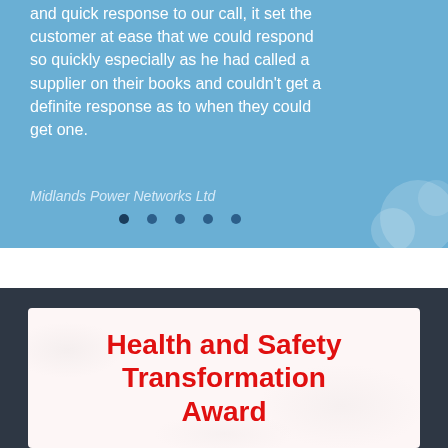and quick response to our call, it set the customer at ease that we could respond so quickly especially as he had called a supplier on their books and couldn't get a definite response as to when they could get one.
Midlands Power Networks Ltd
[Figure (other): Navigation dots: 5 dots indicating carousel position, first dot active]
Health and Safety Transformation Award